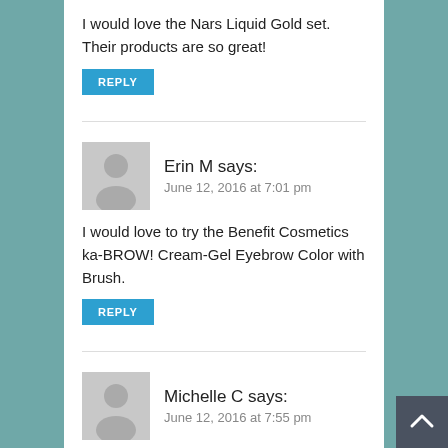I would love the Nars Liquid Gold set. Their products are so great!
REPLY
Erin M says:
June 12, 2016 at 7:01 pm
I would love to try the Benefit Cosmetics ka-BROW! Cream-Gel Eyebrow Color with Brush.
REPLY
Michelle C says:
June 12, 2016 at 7:55 pm
I would like to try the Tarteist™ Creamy...